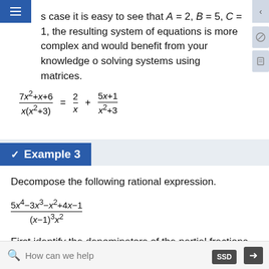s case it is easy to see that A = 2, B = 5, C = 1, the resulting system of equations is more complex and would benefit from your knowledge of solving systems using matrices.
✓ Example 3
Decompose the following rational expression.
First identify the denominators of the partial fractions.